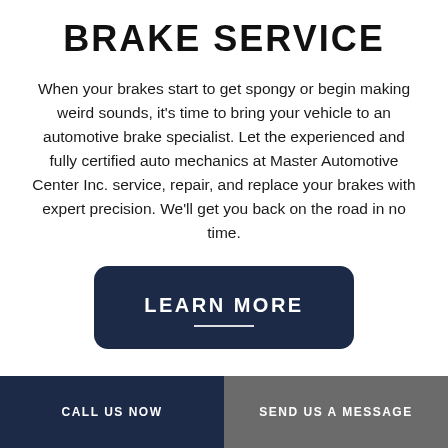BRAKE SERVICE
When your brakes start to get spongy or begin making weird sounds, it’s time to bring your vehicle to an automotive brake specialist. Let the experienced and fully certified auto mechanics at Master Automotive Center Inc. service, repair, and replace your brakes with expert precision. We’ll get you back on the road in no time.
[Figure (other): Dark navy rounded rectangle button with white uppercase text 'LEARN MORE' and a short white underline below the text.]
CALL US NOW | SEND US A MESSAGE